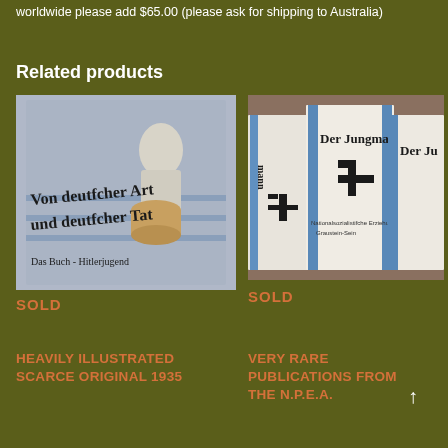worldwide please add $65.00 (please ask for shipping to Australia)
Related products
[Figure (photo): Book cover showing a boy with drums, titled 'Von deutscher Art und deutscher Tat - Das Buch der Hitlerjugend']
SOLD
[Figure (photo): Three copies of 'Der Jungmann' publications with Nazi swastika emblems and blue stripe design]
SOLD
HEAVILY ILLUSTRATED SCARCE ORIGINAL 1935
VERY RARE PUBLICATIONS FROM THE N.P.E.A. ORGANISTION FOR